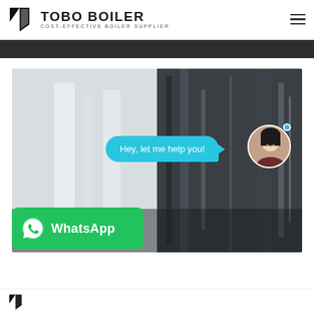[Figure (logo): Tobo Boiler logo with geometric icon and text 'TOBO BOILER / COST-EFFECTIVE BOILER SUPPLIER']
[Figure (photo): Main hero image showing industrial/boiler equipment, blurred background with a chat bubble overlay saying 'Hey, let me help you!' and a customer service avatar photo, plus a WhatsApp button overlay]
[Figure (logo): Partial Tobo Boiler logo visible at bottom of page]